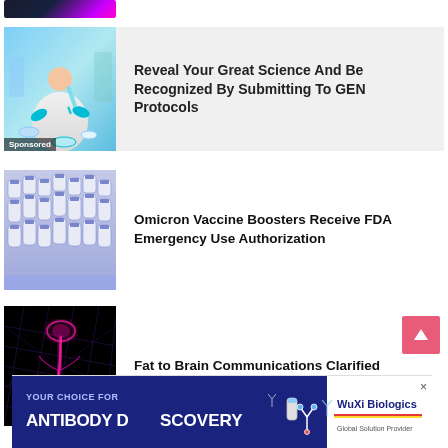[Figure (photo): Partial top image showing purple/pink glowing science abstract, cropped]
[Figure (photo): Sponsored card with lab scientist image (teal gloves, pipette, petri dishes) on grey background]
Sponsored
Reveal Your Great Science And Be Recognized By Submitting To GEN Protocols
[Figure (photo): Rows of vaccine vials in purple/grey tones]
Omicron Vaccine Boosters Receive FDA Emergency Use Authorization
[Figure (photo): Dark image with pink/purple neon illustration of fat-to-brain neural pathway on grid]
Fat to Brain Communications Clarified
[Figure (other): WuXi Biologics advertisement banner: YOUR CHOICE FOR ANTIBODY DISCOVERY]
×